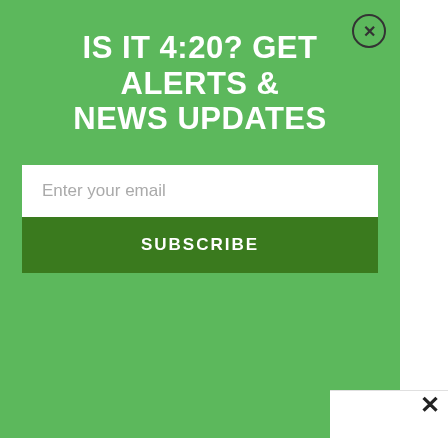IS IT 4:20? GET ALERTS & NEWS UPDATES
Enter your email
SUBSCRIBE
Recent Poll Data Sho... Better for People Th...
Amanda Safran - Aug 17
Officials in Alabama ... Program, North Dako...
Amanda Safran - Aug 16
California Marijuana... Lawmaker Files Bill t...